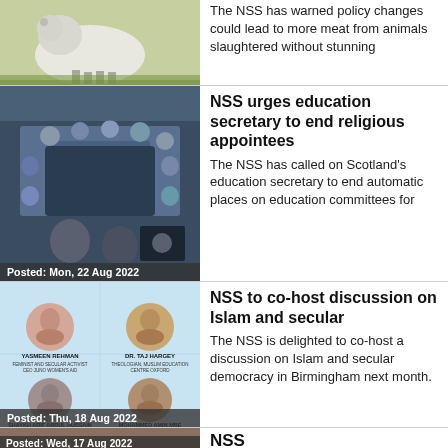[Figure (photo): Partial photo of lamb/sheep in grass, top of page]
The NSS has warned policy changes could lead to more meat from animals slaughtered without stunning
[Figure (photo): Meeting room with people around a long table, date overlay: Posted: Mon, 22 Aug 2022]
NSS urges education secretary to end religious appointees
The NSS has called on Scotland's education secretary to end automatic places on education committees for
[Figure (photo): Panel discussion poster with four speakers: Yasmeen Rehman, Dr. Taj Hargey, Shaykh Arif Abdul Hussain, Mohammed Amin MBE. Date overlay: Posted: Thu, 18 Aug 2022]
NSS to co-host discussion on Islam and secular
The NSS is delighted to co-host a discussion on Islam and secular democracy in Birmingham next month.
[Figure (photo): Partial image bottom strip, date overlay: Posted: Wed, 17 Aug 2022]
NSS